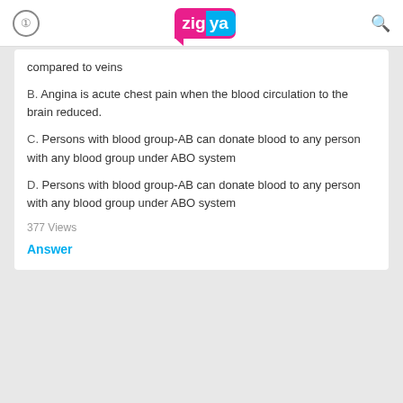Zigya
compared to veins
B. Angina is acute chest pain when the blood circulation to the brain reduced.
C. Persons with blood group-AB can donate blood to any person with any blood group under ABO system
D. Persons with blood group-AB can donate blood to any person with any blood group under ABO system
377 Views
Answer